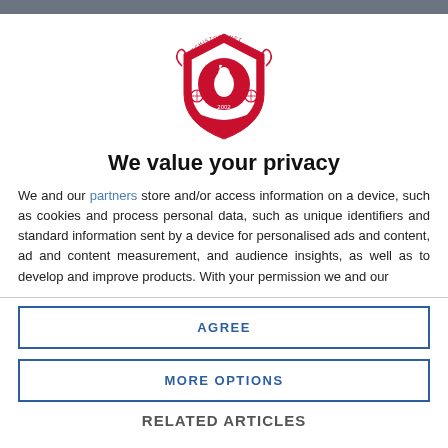[Figure (logo): LFCHistory.net red shield crest logo with pelican bird, est. 2002]
We value your privacy
We and our partners store and/or access information on a device, such as cookies and process personal data, such as unique identifiers and standard information sent by a device for personalised ads and content, ad and content measurement, and audience insights, as well as to develop and improve products. With your permission we and our
AGREE
MORE OPTIONS
RELATED ARTICLES